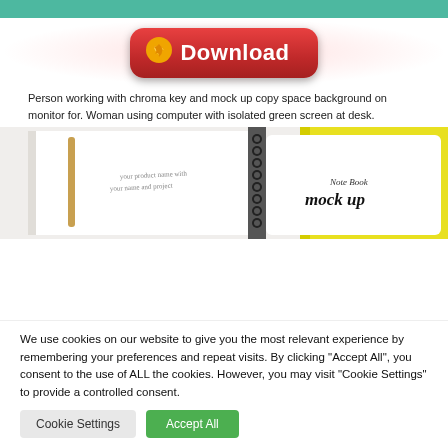[Figure (screenshot): Teal/green horizontal bar at the very top of the page]
[Figure (screenshot): Red rounded Download button with orange arrow icon and bold white 'Download' text, centered with a red radial glow background]
Person working with chroma key and mock up copy space background on monitor for. Woman using computer with isolated green screen at desk.
[Figure (photo): Photo of an open spiral notebook mock up with handwritten-style text on left page, and a second spiral notebook showing 'Note Book mock up' text on yellow background]
We use cookies on our website to give you the most relevant experience by remembering your preferences and repeat visits. By clicking "Accept All", you consent to the use of ALL the cookies. However, you may visit "Cookie Settings" to provide a controlled consent.
Cookie Settings
Accept All